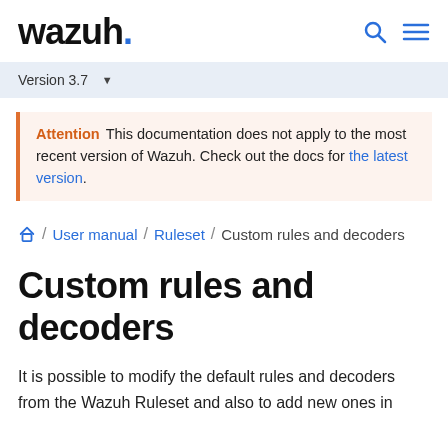wazuh.
Version 3.7
Attention  This documentation does not apply to the most recent version of Wazuh. Check out the docs for the latest version.
Home / User manual / Ruleset / Custom rules and decoders
Custom rules and decoders
It is possible to modify the default rules and decoders from the Wazuh Ruleset and also to add new ones in